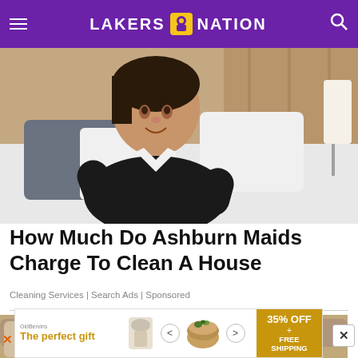LAKERS NATION
[Figure (photo): A woman in a maid uniform (black dress with white collar) leaning over a hotel bed, looking at the camera with a slight smile. Dark and white pillows visible, wood-panel wall and lamp in background.]
How Much Do Ashburn Maids Charge To Clean A House
Cleaning Services | Search Ads | Sponsored
[Figure (photo): Partial view of a person reclining on a sofa, holding a white bowl, wearing khaki pants.]
[Figure (other): Advertisement banner: OldBevins brand. 'The perfect gift' in gold text, food product image (bowl), navigation arrows, and '35% OFF + FREE SHIPPING' gold banner on right.]